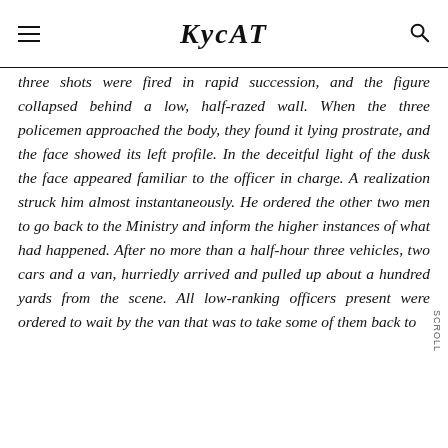KYCAT
three shots were fired in rapid succession, and the figure collapsed behind a low, half-razed wall. When the three policemen approached the body, they found it lying prostrate, and the face showed its left profile. In the deceitful light of the dusk the face appeared familiar to the officer in charge. A realization struck him almost instantaneously. He ordered the other two men to go back to the Ministry and inform the higher instances of what had happened. After no more than a half-hour three vehicles, two cars and a van, hurriedly arrived and pulled up about a hundred yards from the scene. All low-ranking officers present were ordered to wait by the van that was to take some of them back to